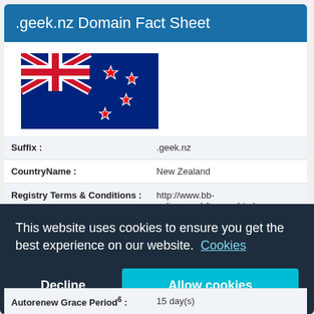.geek.nz Domain Fact Sheet
[Figure (illustration): New Zealand flag - dark blue background with Union Jack in top-left corner and four red stars (Southern Cross) on the right side]
| Suffix : | .geek.nz |
| CountryName : | New Zealand |
| Registry Terms & Conditions : | http://www.bb-online.co.uk/terms.shtml |
| IDN Capable¹ : | No |
| Delete Protection Available² : | No |
| Autorenew Grace Period⁶ : | 15 day(s) |
This website uses cookies to ensure you get the best experience on our website. Cookies
Decline
Allow cookies